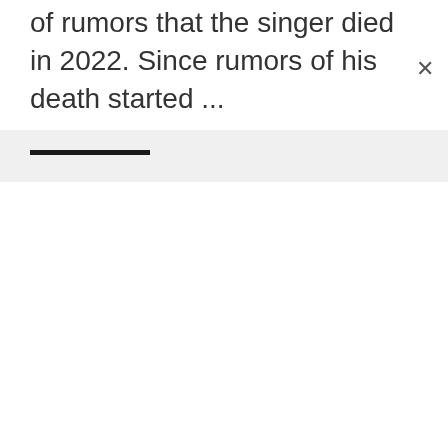of rumors that the singer died in 2022. Since rumors of his death started ...